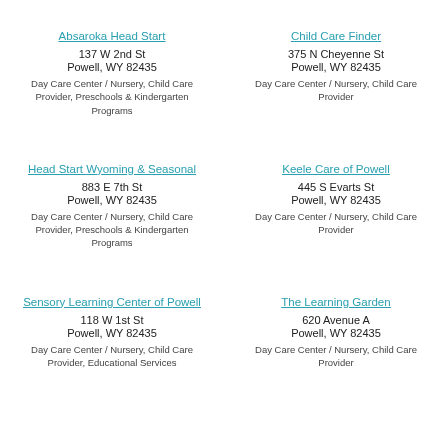Absaroka Head Start
137 W 2nd St
Powell, WY 82435
Day Care Center / Nursery, Child Care Provider, Preschools & Kindergarten Programs
Child Care Finder
375 N Cheyenne St
Powell, WY 82435
Day Care Center / Nursery, Child Care Provider
Head Start Wyoming & Seasonal
883 E 7th St
Powell, WY 82435
Day Care Center / Nursery, Child Care Provider, Preschools & Kindergarten Programs
Keele Care of Powell
445 S Evarts St
Powell, WY 82435
Day Care Center / Nursery, Child Care Provider
Sensory Learning Center of Powell
118 W 1st St
Powell, WY 82435
Day Care Center / Nursery, Child Care Provider, Educational Services
The Learning Garden
620 Avenue A
Powell, WY 82435
Day Care Center / Nursery, Child Care Provider